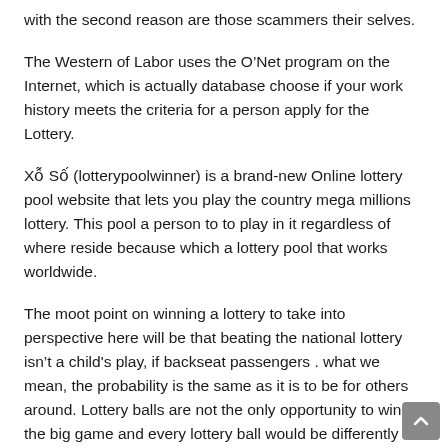with the second reason are those scammers their selves.
The Western of Labor uses the O’Net program on the Internet, which is actually database choose if your work history meets the criteria for a person apply for the Lottery.
Xổ Số (lotterypoolwinner) is a brand-new Online lottery pool website that lets you play the country mega millions lottery. This pool a person to to play in it regardless of where reside because which a lottery pool that works worldwide.
The moot point on winning a lottery to take into perspective here will be that beating the national lottery isn’t a child's play, if backseat passengers . what we mean, the probability is the same as it is to be for others around. Lottery balls are not the only opportunity to win the big game and every lottery ball would be differently used than its counterpart. So don’t are seduced by those petty promising lottery schemes that say include the winning numbers or even if the ones that bring you the cash